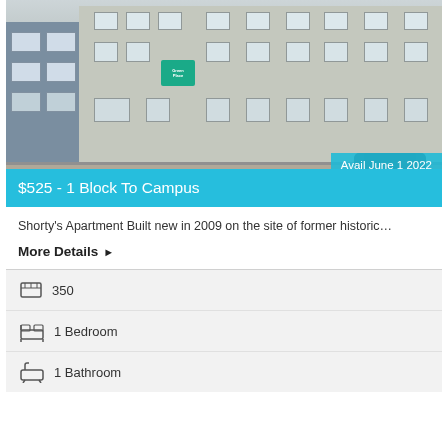[Figure (photo): Exterior photo of Shorty's Apartment building, a multi-story beige/grey building with multiple windows, a green sign at entrance, a dark car parked in the lot, and a yellow curb in the parking area. Overlay badges show availability and price.]
$525 - 1 Block To Campus
Avail June 1 2022
Shorty's Apartment Built new in 2009 on the site of former historic…
More Details ▶
350
1 Bedroom
1 Bathroom